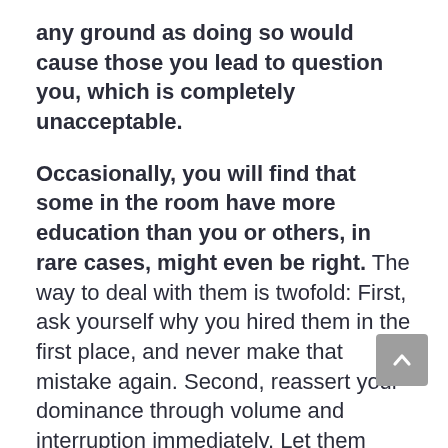any ground as doing so would cause those you lead to question you, which is completely unacceptable.
Occasionally, you will find that some in the room have more education than you or others, in rare cases, might even be right. The way to deal with them is twofold: First, ask yourself why you hired them in the first place, and never make that mistake again. Second, reassert your dominance through volume and interruption immediately. Let them continue talking, but interrupt by randomly peppering them with questions so that they become flustered. Then tell them to get their facts straight next time and leave it at that.
Another approach for dealing with this type of